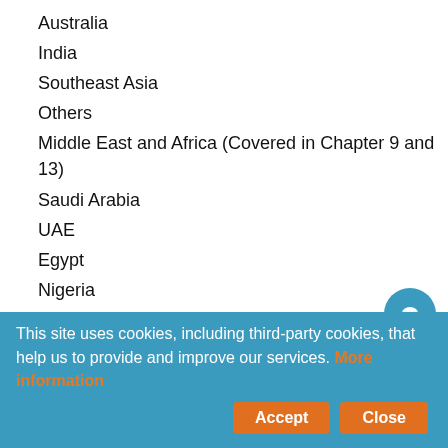Australia
India
Southeast Asia
Others
Middle East and Africa (Covered in Chapter 9 and 13)
Saudi Arabia
UAE
Egypt
Nigeria
South Africa
Others
South America (Covered in Chapter 10 and 13)
Brazil
Argentina
Columbia
Chile
Others
This site uses cookies, including third-party cookies, that help us to provide and improve our services. More information